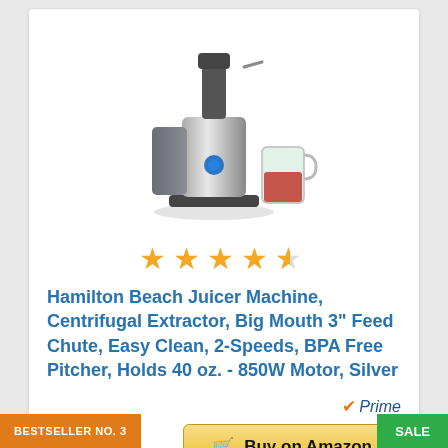[Figure (photo): Hamilton Beach juicer machine product photo showing a stainless steel centrifugal juicer with a gray pulp collector and a clear pitcher containing red juice]
[Figure (other): 4.5 star rating shown as 4 full gold stars and 1 half gold star]
Hamilton Beach Juicer Machine, Centrifugal Extractor, Big Mouth 3" Feed Chute, Easy Clean, 2-Speeds, BPA Free Pitcher, Holds 40 oz. - 850W Motor, Silver
[Figure (logo): Amazon Prime logo with orange checkmark and italic Prime text in blue]
Buy on Amazon
BESTSELLER NO. 3
SALE